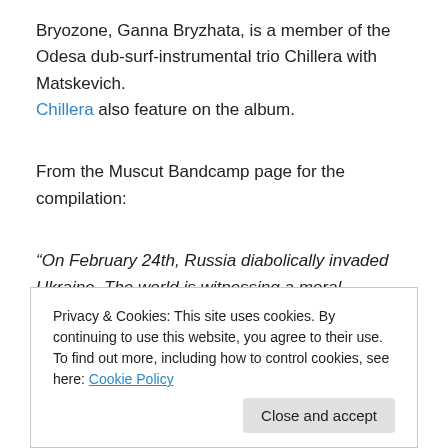Bryozone, Ganna Bryzhata, is a member of the Odesa dub-surf-instrumental trio Chillera with Matskevich. Chillera also feature on the album.
From the Muscut Bandcamp page for the compilation:
“On February 24th, Russia diabolically invaded Ukraine. The world is witnessing a moral catastrophe and war crimes. As a response, Muscut invited Ukrainian artists to join forces in raising funds to support those in need. 100% of the label sales are donated to the “Razom” initiative’s partners and our friends volunteers who are fighting back
Privacy & Cookies: This site uses cookies. By continuing to use this website, you agree to their use.
To find out more, including how to control cookies, see here: Cookie Policy
Close and accept